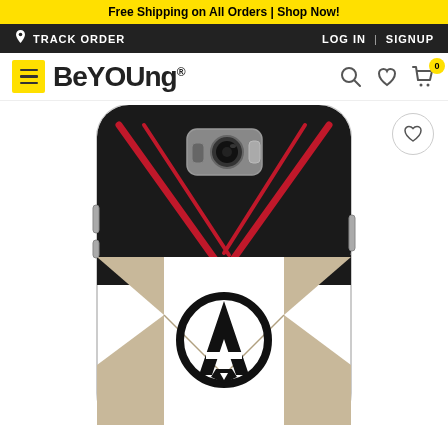Free Shipping on All Orders | Shop Now!
TRACK ORDER   LOG IN | SIGNUP
[Figure (logo): BeYOUng brand logo with hamburger menu, search, heart, and cart icons]
[Figure (photo): Avengers Endgame quantum realm suit themed phone case for Samsung Galaxy S8, showing black top with red chevron lines, white body with Avengers 'A' logo, and tan/gold accents]